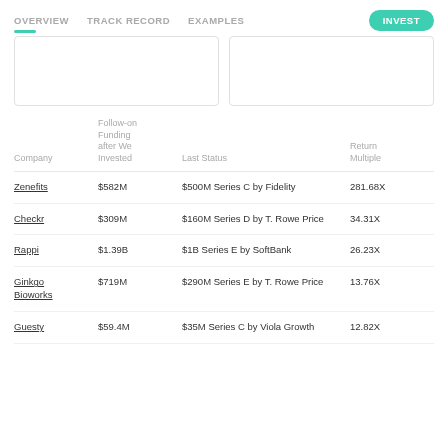OVERVIEW  TRACK RECORD  EXAMPLES  INVEST
| Company | Follow-on Funding after We Invested | Last Status | Return Multiple |
| --- | --- | --- | --- |
| Zenefits | $582M | $500M Series C by Fidelity | 281.68X |
| Checkr | $309M | $160M Series D by T. Rowe Price | 34.31X |
| Rappi | $1.39B | $1B Series E by SoftBank | 26.23X |
| Ginkgo Bioworks | $719M | $290M Series E by T. Rowe Price | 13.76X |
| Guesty | $59.4M | $35M Series C by Viola Growth | 12.82X |